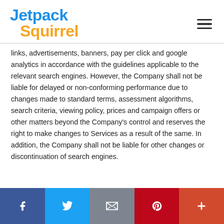Jetpack Squirrel
links, advertisements, banners, pay per click and google analytics in accordance with the guidelines applicable to the relevant search engines. However, the Company shall not be liable for delayed or non-conforming performance due to changes made to standard terms, assessment algorithms, search criteria, viewing policy, prices and campaign offers or other matters beyond the Company’s control and reserves the right to make changes to Services as a result of the same. In addition, the Company shall not be liable for other changes or discontinuation of search engines.
[Figure (other): Social sharing bar with Facebook, Twitter, Email, Pinterest, and More buttons]